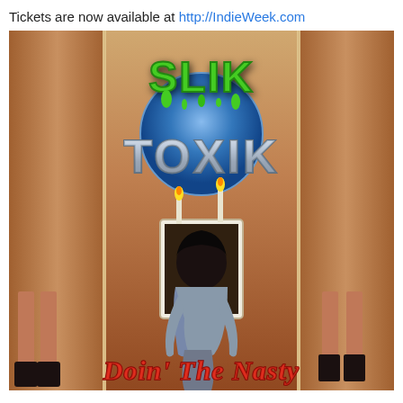Tickets are now available at http://IndieWeek.com
[Figure (photo): Album cover for 'Slik Toxik - Doin' The Nasty'. Features a triptych panel design with warm brown/tan wooden panels. The center panel shows a figure kneeling in front of a fireplace with candles. Left and right panels show partial views of figures. The top has the band name 'SLIK TOXIK' in stylized green slime and metallic lettering with a blue circular element. The bottom text reads 'Doin' The Nasty' in red stylized graffiti lettering.]